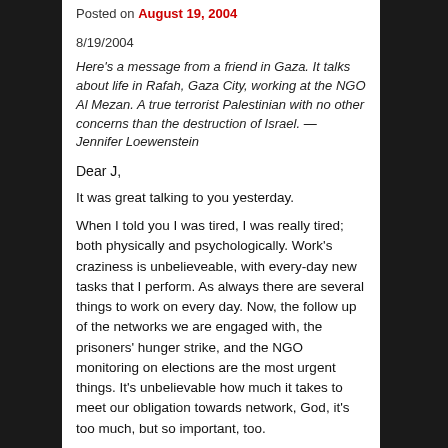Posted on August 19, 2004
8/19/2004
Here's a message from a friend in Gaza. It talks about life in Rafah, Gaza City, working at the NGO Al Mezan. A true terrorist Palestinian with no other concerns than the destruction of Israel. — Jennifer Loewenstein
Dear J,
It was great talking to you yesterday.
When I told you I was tired, I was really tired; both physically and psychologically. Work's craziness is unbelieveable, with every-day new tasks that I perform. As always there are several things to work on every day. Now, the follow up of the networks we are engaged with, the prisoners' hunger strike, and the NGO monitoring on elections are the most urgent things. It's unbelievable how much it takes to meet our obligation towards network, God, it's too much, but so important, too.